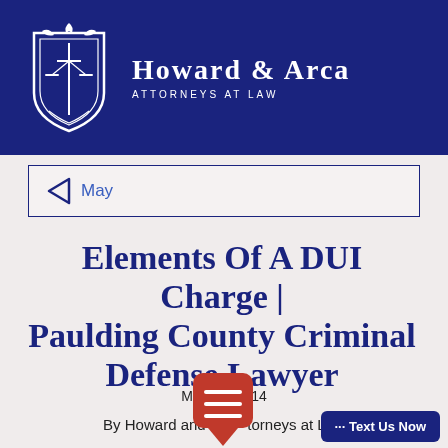[Figure (logo): Howard & Arca Attorneys at Law logo with blue banner, crest/shield with scales of justice, firm name and tagline]
May
Elements Of A DUI Charge | Paulding County Criminal Defense Lawyer
May 14
By Howard and Attorneys at Law